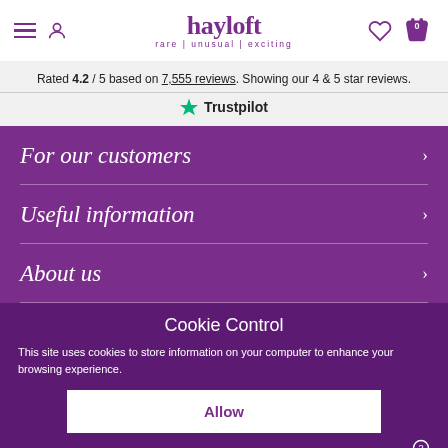hayloft — rare | unusual | exciting — navigation header with hamburger menu, user icon, heart icon, basket icon (0)
Rated 4.2 / 5 based on 7,555 reviews. Showing our 4 & 5 star reviews.
★ Trustpilot
For our customers
Useful information
About us
Cookie Control
This site uses cookies to store information on your computer to enhance your browsing experience.
Allow